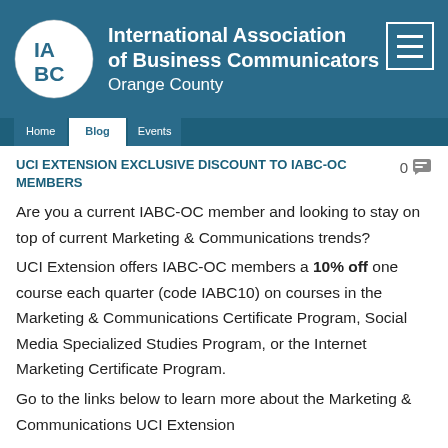International Association of Business Communicators Orange County
UCI EXTENSION EXCLUSIVE DISCOUNT TO IABC-OC MEMBERS
Are you a current IABC-OC member and looking to stay on top of current Marketing & Communications trends?
UCI Extension offers IABC-OC members a 10% off one course each quarter (code IABC10) on courses in the Marketing & Communications Certificate Program, Social Media Specialized Studies Program, or the Internet Marketing Certificate Program.
Go to the links below to learn more about the Marketing & Communications UCI Extension